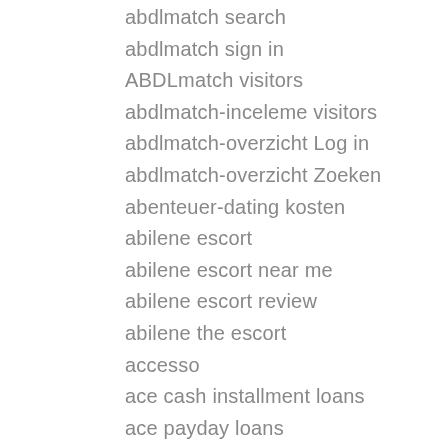abdlmatch search
abdlmatch sign in
ABDLmatch visitors
abdlmatch-inceleme visitors
abdlmatch-overzicht Log in
abdlmatch-overzicht Zoeken
abenteuer-dating kosten
abilene escort
abilene escort near me
abilene escort review
abilene the escort
accesso
ace cash installment loans
ace payday loans
ace title loans
AceBook visit the site here
adam4adam adult dating
adam4adam app
adam4adam cs reviews